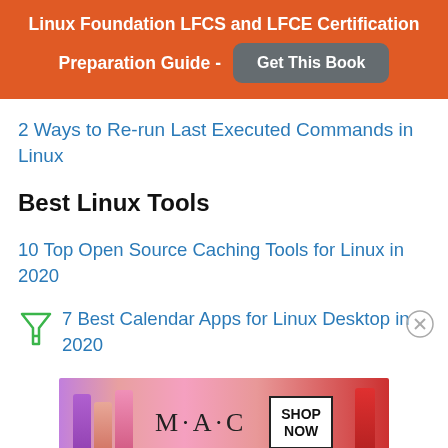[Figure (infographic): Orange banner with white bold text 'Linux Foundation LFCS and LFCE Certification Preparation Guide -' and a grey 'Get This Book' button]
2 Ways to Re-run Last Executed Commands in Linux
Best Linux Tools
10 Top Open Source Caching Tools for Linux in 2020
7 Best Calendar Apps for Linux Desktop in 2020
[Figure (photo): MAC cosmetics advertisement showing lipsticks and text SHOP NOW]